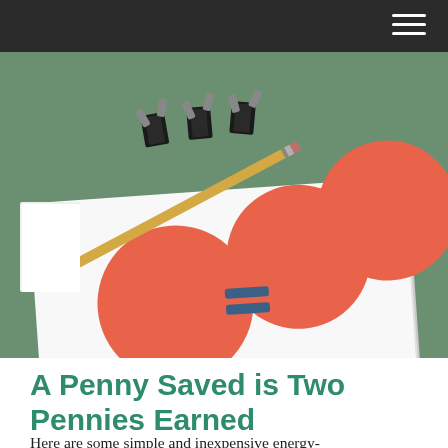[Figure (photo): A photo showing a white card/booklet with three salmon-red circles and a blue equals sign in the middle, resting on a green surface with binder clips and a pencil in the background.]
A Penny Saved is Two Pennies Earned
Here are some simple and inexpensive energy-